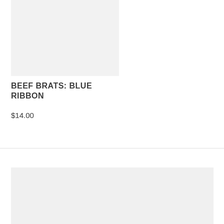[Figure (photo): Product image placeholder for Beef Brats: Blue Ribbon, light gray background]
BEEF BRATS: BLUE RIBBON
$14.00
[Figure (photo): Second product image placeholder, light gray background, wider format]